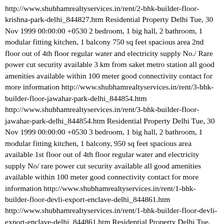http://www.shubhamrealtyservices.in/rent/2-bhk-builder-floor-krishna-park-delhi_844827.htm Residential Property Delhi Tue, 30 Nov 1999 00:00:00 +0530 2 bedroom, 1 big hall, 2 bathroom, 1 modular fitting kitchen, 1 balcony 750 sq feet spacious area 2nd floor out of 4th floor regular water and electricity supply No./ Rare power cut security available 3 km from saket metro station all good amenities available within 100 meter good connectivity contact for more information http://www.shubhamrealtyservices.in/rent/3-bhk-builder-floor-jawahar-park-delhi_844854.htm http://www.shubhamrealtyservices.in/rent/3-bhk-builder-floor-jawahar-park-delhi_844854.htm Residential Property Delhi Tue, 30 Nov 1999 00:00:00 +0530 3 bedroom, 1 big hall, 2 bathroom, 1 modular fitting kitchen, 1 balcony, 950 sq feet spacious area available 1st floor out of 4th floor regular water and electricity supply No/ rare power cut security available all good amenities available within 100 meter good connectivity contact for more information http://www.shubhamrealtyservices.in/rent/1-bhk-builder-floor-devli-export-enclave-delhi_844861.htm http://www.shubhamrealtyservices.in/rent/1-bhk-builder-floor-devli-export-enclave-delhi_844861.htm Residential Property Delhi Tue, 30 Nov 1999 00:00:00 +0530 1 bedroom, 1 big hall, 1 bathroom, 1 modular fitting kitchen, 1 balcony 450 sq feet spacious area 2nd floor out of 4th floor regular water and electricity supply No/ Rare power cut security available 3 km from